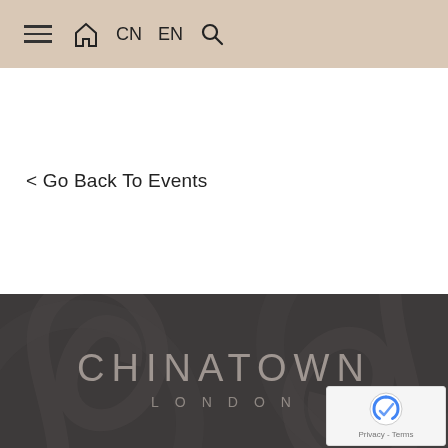≡ 🏠 CN EN 🔍
< Go Back To Events
[Figure (logo): Chinatown London logo on dark decorative background with swirl patterns. Text reads CHINATOWN above LONDON in spaced letters.]
Legal & privacy
How to find us